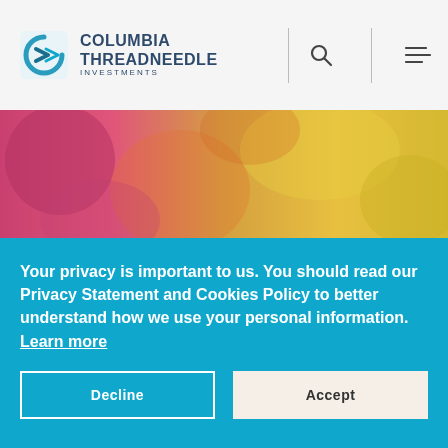Columbia Threadneedle Investments
[Figure (photo): Abstract colorful background image in red, pink, and yellow tones for article header]
Standstill on Ukraine debt is right for both the country and our clients
Here's why we believe the Ukrainian authorities' request for a two-year standstill on Eurobond debt service needed to be approved by asset managers
Your privacy is important to us. You should read our Privacy Statement and Cookies Policy to better understand how we use your personal information. Learn more
Decline
Accept